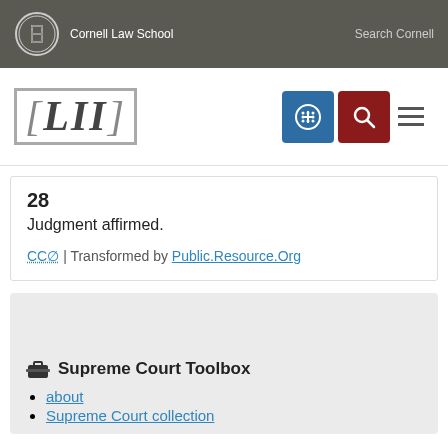Cornell Law School | Search Cornell
[Figure (logo): LII Legal Information Institute logo with bracket design]
28
Judgment affirmed.
CC0 | Transformed by Public.Resource.Org
Supreme Court Toolbox
about
Supreme Court collection